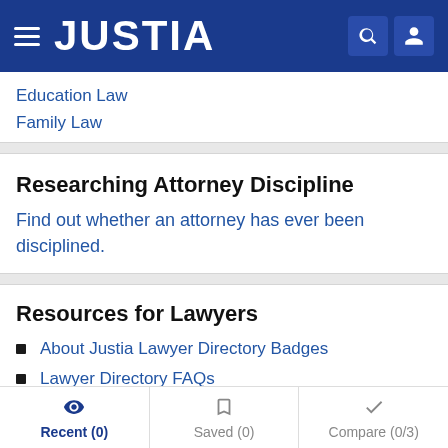JUSTIA
Education Law
Family Law
Researching Attorney Discipline
Find out whether an attorney has ever been disciplined.
Resources for Lawyers
About Justia Lawyer Directory Badges
Lawyer Directory FAQs
Claim your Profile
About Premium Placements
Recent (0)  Saved (0)  Compare (0/3)